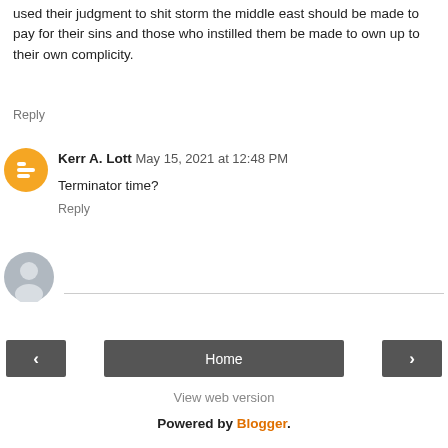used their judgment to shit storm the middle east should be made to pay for their sins and those who instilled them be made to own up to their own complicity.
Reply
Kerr A. Lott  May 15, 2021 at 12:48 PM
Terminator time?
Reply
[Figure (other): Enter Comment input field with gray user avatar icon]
Home navigation bar with back and forward arrows
View web version
Powered by Blogger.